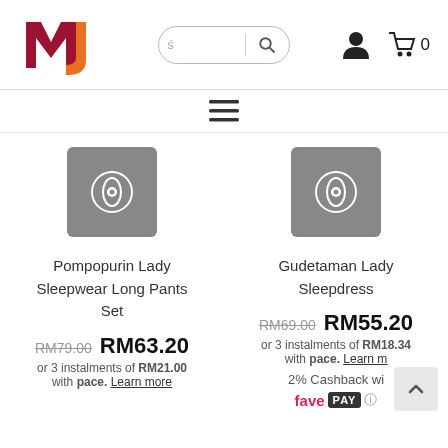[Figure (logo): MJ logo with red M and orange J letters]
[Figure (screenshot): Search bar input with magnifying glass icon]
[Figure (screenshot): User account icon and shopping cart icon with 0]
[Figure (screenshot): Hamburger menu icon (three horizontal lines)]
[Figure (screenshot): Quick view eye icon button for Pompopurin product]
[Figure (screenshot): Quick view eye icon button for Gudetaman product]
Pompopurin Lady Sleepwear Long Pants Set
RM79.00 RM63.20 or 3 instalments of RM21.00 with pace. Learn more
Gudetaman Lady Sleepdress
RM69.00 RM55.20 or 3 instalments of RM18.34 with pace. Learn more
2% Cashback wi
[Figure (logo): fave PAY logo in red and dark]